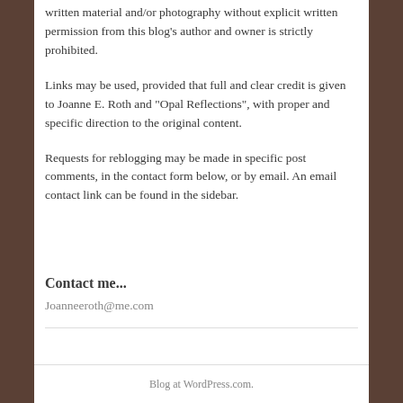written material and/or photography without explicit written permission from this blog's author and owner is strictly prohibited.
Links may be used, provided that full and clear credit is given to Joanne E. Roth and "Opal Reflections", with proper and specific direction to the original content.
Requests for reblogging may be made in specific post comments, in the contact form below, or by email. An email contact link can be found in the sidebar.
Contact me...
Joanneeroth@me.com
Blog at WordPress.com.